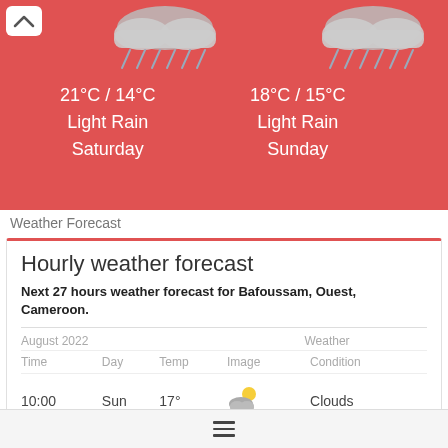[Figure (screenshot): Weather app banner showing Saturday forecast: 21°C / 14°C Light Rain, and Sunday forecast: 18°C / 15°C Light Rain, with rain cloud icons on red background]
Weather Forecast
Hourly weather forecast
Next 27 hours weather forecast for Bafoussam, Ouest, Cameroon.
| Time | Day | Temp | Image | Condition |
| --- | --- | --- | --- | --- |
| 10:00 | Sun | 17° | [cloud icon] | Clouds |
[Figure (illustration): Hamburger menu icon (three horizontal lines) at bottom navigation bar]